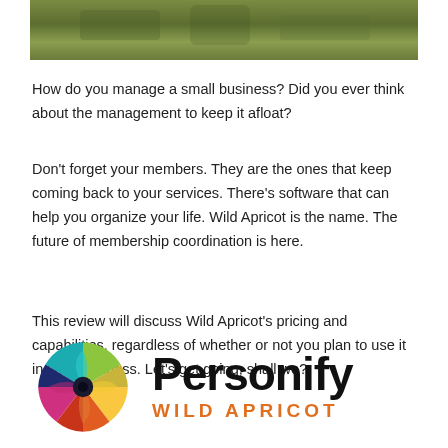[Figure (photo): Partial photo strip at top showing green grass/outdoor scene]
How do you manage a small business? Did you ever think about the management to keep it afloat?
Don’t forget your members. They are the ones that keep coming back to your services. There’s software that can help you organize your life. Wild Apricot is the name. The future of membership coordination is here.
This review will discuss Wild Apricot’s pricing and capabilities, regardless of whether or not you plan to use it in your business. Let’s get going, shall we?
[Figure (logo): Personify Wild Apricot logo: colorful pinwheel circle icon on the left, 'Personify' in large bold black text, 'WILD APRICOT' in orange bold uppercase letters below]